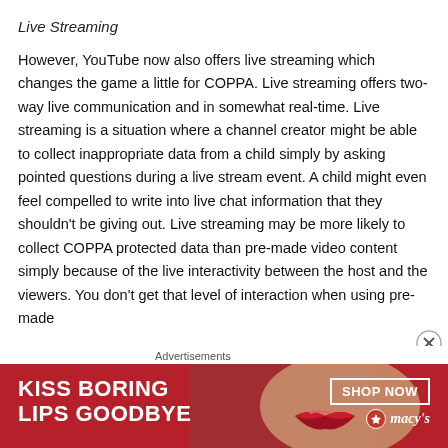Live Streaming
However, YouTube now also offers live streaming which changes the game a little for COPPA. Live streaming offers two-way live communication and in somewhat real-time. Live streaming is a situation where a channel creator might be able to collect inappropriate data from a child simply by asking pointed questions during a live stream event. A child might even feel compelled to write into live chat information that they shouldn't be giving out. Live streaming may be more likely to collect COPPA protected data than pre-made video content simply because of the live interactivity between the host and the viewers. You don't get that level of interaction when using pre-made
Advertisements
[Figure (photo): Advertisement banner for Macy's cosmetics: dark red background with text 'KISS BORING LIPS GOODBYE' in white, woman's face with red lips, 'SHOP NOW' button, and Macy's logo with star.]